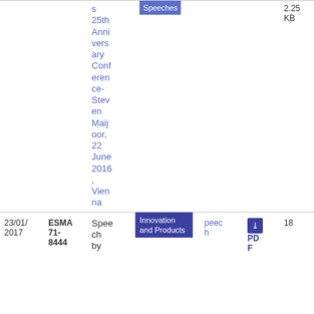| Date | Reference | Title | Topic | Type | Links | Size |
| --- | --- | --- | --- | --- | --- | --- |
|  |  | s 25th Anniversary Conference-Steven Maijoor, 22 June 2016, Vienna | Speeches |  |  | 2.25 KB |
| 23/01/2017 | ESMA 71-8444 | Speech by | Innovation and Products | Speec h |  | 18 |